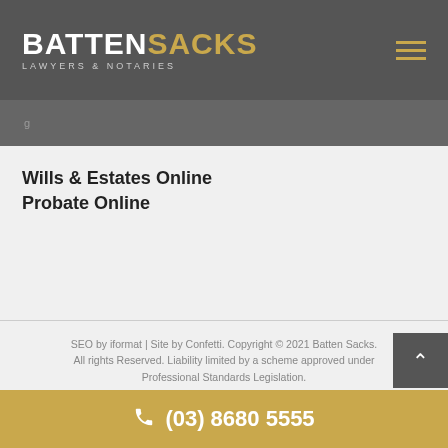BATTENSACKS LAWYERS & NOTARIES
g
Wills & Estates Online
Probate Online
SEO by iformat | Site by Confetti. Copyright © 2021 Batten Sacks. All rights Reserved. Liability limited by a scheme approved under Professional Standards Legislation.
(03) 8680 5555
Level 5, 60 Albert Road South Melbourne, Victoria, 3205 Australia